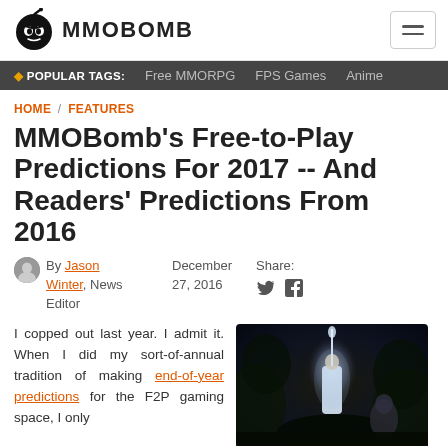MMOBOMB
POPULAR TAGS: Free MMORPG  FPS Games  Anime
HOME / FEATURES
MMOBomb's Free-to-Play Predictions For 2017 -- And Readers' Predictions From 2016
By Jason Winter, News Editor   December 27, 2016   Share:
I copped out last year. I admit it. When I did my sort-of-annual tradition of making end-of-year predictions for the F2P gaming space, I only
[Figure (photo): Dark fantasy game screenshot showing a glowing figure in white robes holding a sword aloft, surrounded by dark foliage]